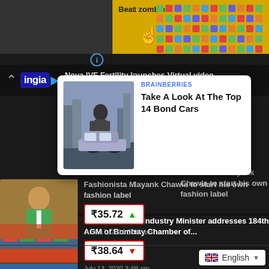[Figure (screenshot): Advertisement banner with 'Beat zombies!' text and game characters on yellow background]
[Figure (screenshot): Ingia TV logo bar with navigation chevron and headline 'Nova IVF Fertility launches Virtual video...']
[Figure (screenshot): Popup card with image of man leaning on car, labeled BRAINBERRIES]
BRAINBERRIES
Take A Look At The Top 14 Bond Cars
Fashionista Mayank Chawla to start his own fashion label
₹35.72 ▲
June 17, 2019 5:28 pm
[Figure (photo): Man in green suit sitting in styled room]
[Figure (photo): Container ship with colorful shipping containers]
Commerce and Industry Minister addresses 184th AGM of Bombay Chamber of...
₹38.64 ▼
July 13, 2020 3:48 pm
English